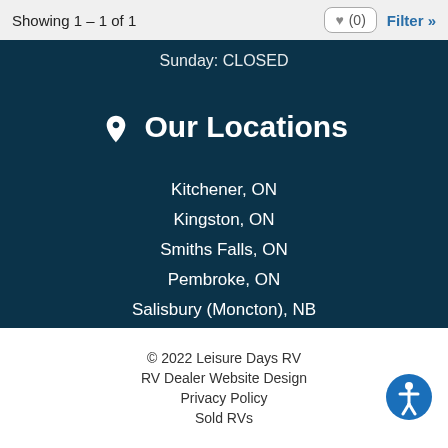Showing 1 – 1 of 1
Sunday: CLOSED
Our Locations
Kitchener, ON
Kingston, ON
Smiths Falls, ON
Pembroke, ON
Salisbury (Moncton), NB
Truro, NS
© 2022 Leisure Days RV
RV Dealer Website Design
Privacy Policy
Sold RVs